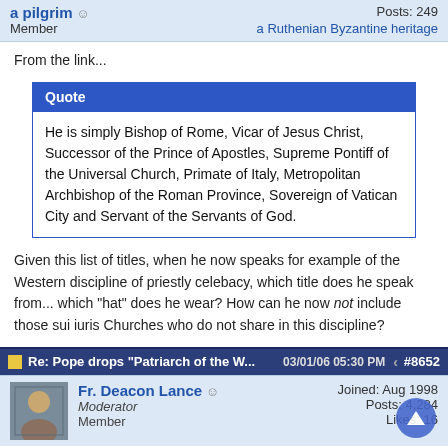a pilgrim — Member | Posts: 249 | a Ruthenian Byzantine heritage
From the link...
Quote
He is simply Bishop of Rome, Vicar of Jesus Christ, Successor of the Prince of Apostles, Supreme Pontiff of the Universal Church, Primate of Italy, Metropolitan Archbishop of the Roman Province, Sovereign of Vatican City and Servant of the Servants of God.
Given this list of titles, when he now speaks for example of the Western discipline of priestly celebacy, which title does he speak from... which "hat" does he wear? How can he now not include those sui iuris Churches who do not share in this discipline?
Re: Pope drops "Patriarch of the W...   03/01/06 05:30 PM   #8652
Fr. Deacon Lance — Moderator — Member | Joined: Aug 1998 | Posts: 4,284 | Likes: 16